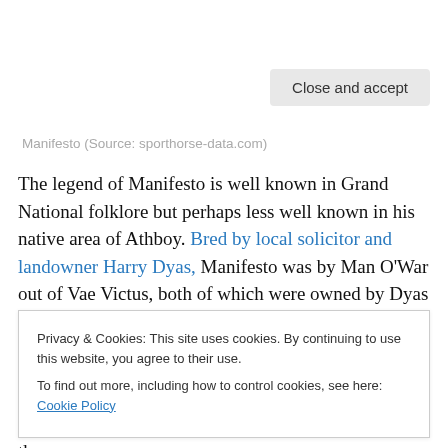Manifesto (Source: sporthorse-data.com)
The legend of Manifesto is well known in Grand National folklore but perhaps less well known in his native area of Athboy. Bred by local solicitor and landowner Harry Dyas, Manifesto was by Man O’War out of Vae Victus, both of which were owned by Dyas himself. Foaled in 1888 and
Privacy & Cookies: This site uses cookies. By continuing to use this website, you agree to their use.
To find out more, including how to control cookies, see here: Cookie Policy
Close and accept
went on to win The Irish Champion Steeplechase and the